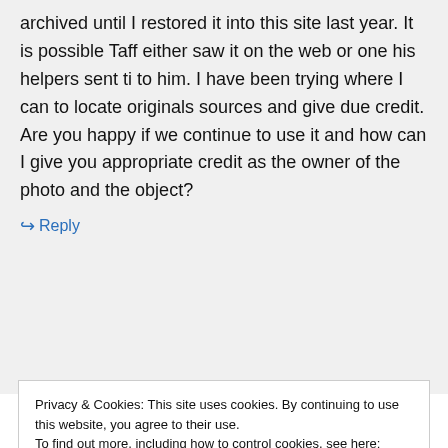archived until I restored it into this site last year. It is possible Taff either saw it on the web or one his helpers sent ti to him. I have been trying where I can to locate originals sources and give due credit. Are you happy if we continue to use it and how can I give you appropriate credit as the owner of the photo and the object?
↳ Reply
Privacy & Cookies: This site uses cookies. By continuing to use this website, you agree to their use. To find out more, including how to control cookies, see here: Cookie Policy
Close and accept